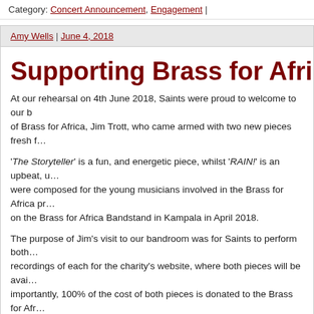Category: Concert Announcement, Engagement |
Amy Wells | June 4, 2018
Supporting Brass for Afric…
At our rehearsal on 4th June 2018, Saints were proud to welcome to our b… of Brass for Africa, Jim Trott, who came armed with two new pieces fresh f…
'The Storyteller' is a fun, and energetic piece, whilst 'RAIN!' is an upbeat, u… were composed for the young musicians involved in the Brass for Africa pr… on the Brass for Africa Bandstand in Kampala in April 2018.
The purpose of Jim's visit to our bandroom was for Saints to perform both… recordings of each for the charity's website, where both pieces will be avai… importantly, 100% of the cost of both pieces is donated to the Brass for Afr…
Brass for Africa is a wonderful charity and one which Saints are proud to s… offered the opportunity to record each of Alan's pieces and we hope this w… work with the organisation.
Both pieces can be purchased at the links below: